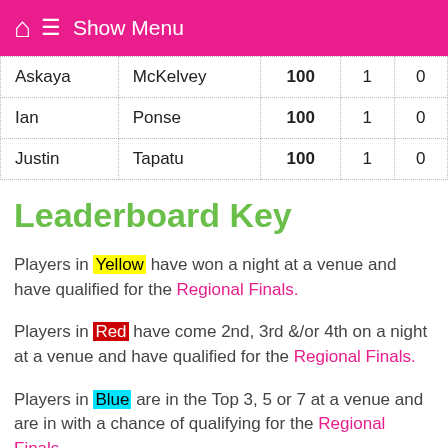Show Menu
| Askaya | McKelvey | 100 | 1 | 0 |
| Ian | Ponse | 100 | 1 | 0 |
| Justin | Tapatu | 100 | 1 | 0 |
Leaderboard Key
Players in Yellow have won a night at a venue and have qualified for the Regional Finals.
Players in Red have come 2nd, 3rd &/or 4th on a night at a venue and have qualified for the Regional Finals.
Players in Blue are in the Top 3, 5 or 7 at a venue and are in with a chance of qualifying for the Regional Finals.